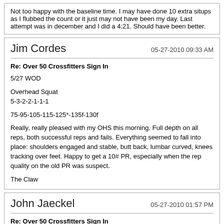Not too happy with the baseline time. I may have done 10 extra situps as I flubbed the count or it just may not have been my day. Last attempt was in december and I did a 4:21. Should have been better.
Jim Cordes
05-27-2010 09:33 AM
Re: Over 50 Crossfitters Sign In
5/27 WOD

Overhead Squat
5-3-2-2-1-1-1

75-95-105-115-125*-135f-130f

Really, really pleased with my OHS this morning. Full depth on all reps, both successful reps and fails. Everything seemed to fall into place: shoulders engaged and stable, butt back, lumbar curved, knees tracking over feet. Happy to get a 10# PR, especially when the rep quality on the old PR was suspect.

The Claw
John Jaeckel
05-27-2010 01:57 PM
Re: Over 50 Crossfitters Sign In